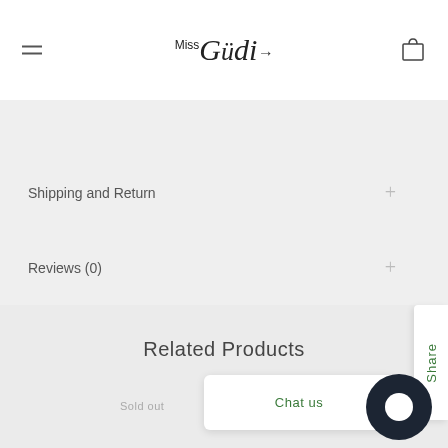Miss Guidi
Shipping and Return
Reviews (0)
Related Products
Sold out
Sold out
Chat us